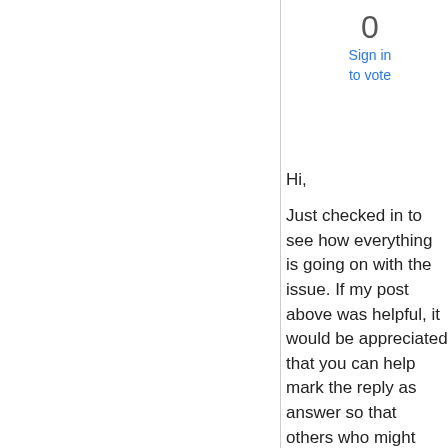0
Sign in to vote
Hi,
Just checked in to see how everything is going on with the issue. If my post above was helpful, it would be appreciated that you can help mark the reply as answer so that others who might have a similar issue can benefit from your thread. Thanks for your understanding and support.
Regards,
Yuki Sun
Please remember to mark the replies as answers if they helped. If you have